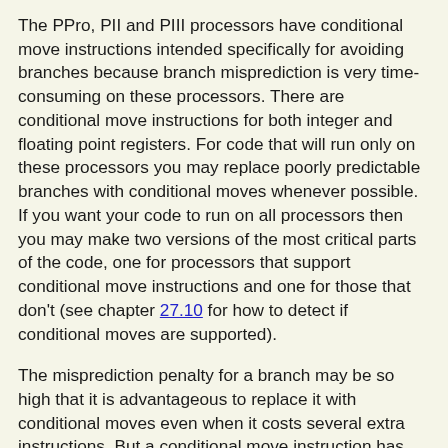The PPro, PII and PIII processors have conditional move instructions intended specifically for avoiding branches because branch misprediction is very time-consuming on these processors. There are conditional move instructions for both integer and floating point registers. For code that will run only on these processors you may replace poorly predictable branches with conditional moves whenever possible. If you want your code to run on all processors then you may make two versions of the most critical parts of the code, one for processors that support conditional move instructions and one for those that don't (see chapter 27.10 for how to detect if conditional moves are supported).
The misprediction penalty for a branch may be so high that it is advantageous to replace it with conditional moves even when it costs several extra instructions. But a conditional move instruction has the disadvantage that it makes dependency chains longer. The conditional move waits for both register operands to be ready even though only one of them is needed. A conditional move is waiting for three operands to be ready: the condition flag and the two move operands. You have to consider if any of these three operands are likely to be delayed by dependency chains or cache misses. If the condition flag is available long before the move operands then you may as well use a branch.